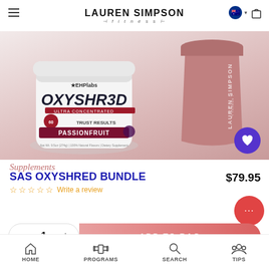LAUREN SIMPSON fitness
[Figure (photo): OxyShred Ultra Concentrated supplement tub in Passionfruit flavor by EHP Labs, alongside a pink Lauren Simpson Fitness shaker cup, on a pink/mauve gradient background.]
Supplements
SAS OXYSHRED BUNDLE
$79.95
☆☆☆☆☆ Write a review
1
ADD TO BAG
HOME  PROGRAMS  SEARCH  TIPS